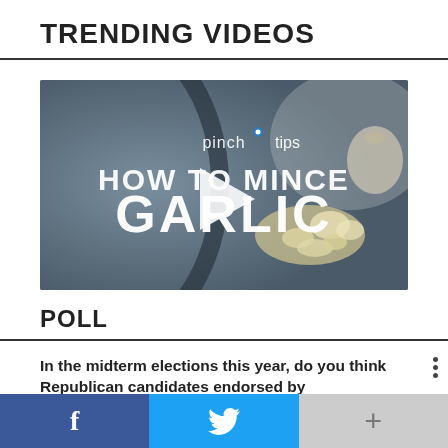TRENDING VIDEOS
[Figure (screenshot): Video thumbnail showing minced garlic on a cutting board with text overlay: 'pinch tips HOW TO MINCE GARLIC' and a play button icon in the center]
POLL
In the midterm elections this year, do you think Republican candidates endorsed by
Social share bar with Facebook, Twitter, and more buttons